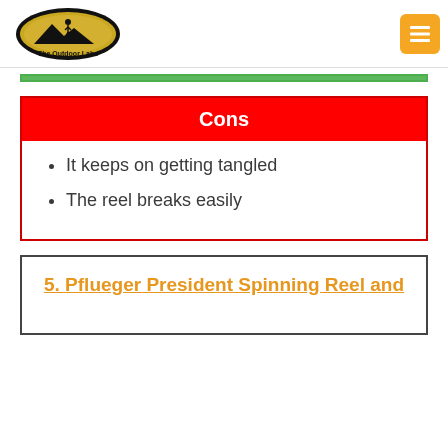The Outdoor Labs
It keeps on getting tangled
The reel breaks easily
5. Pflueger President Spinning Reel and